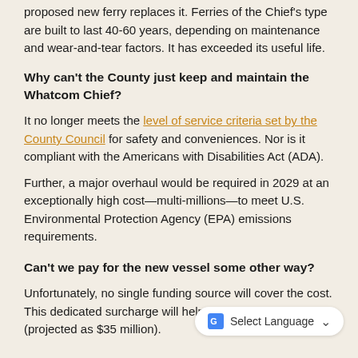proposed new ferry replaces it. Ferries of the Chief's type are built to last 40-60 years, depending on maintenance and wear-and-tear factors. It has exceeded its useful life.
Why can't the County just keep and maintain the Whatcom Chief?
It no longer meets the level of service criteria set by the County Council for safety and conveniences. Nor is it compliant with the Americans with Disabilities Act (ADA).
Further, a major overhaul would be required in 2029 at an exceptionally high cost—multi-millions—to meet U.S. Environmental Protection Agency (EPA) emissions requirements.
Can't we pay for the new vessel some other way?
Unfortunately, no single funding source will cover the cost. This dedicated surcharge will help cove new ferry (projected as $35 million).